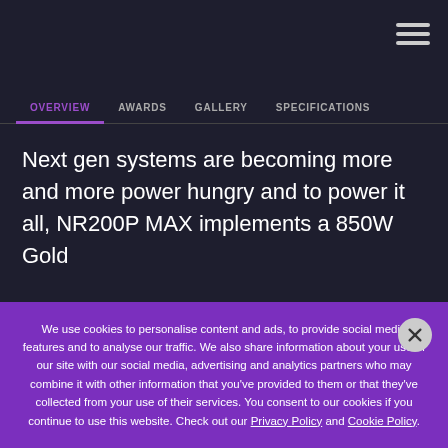Navigation header with hamburger menu icon
OVERVIEW | AWARDS | GALLERY | SPECIFICATIONS
Next gen systems are becoming more and more power hungry and to power it all, NR200P MAX implements a 850W Gold
We use cookies to personalise content and ads, to provide social media features and to analyse our traffic. We also share information about your use of our site with our social media, advertising and analytics partners who may combine it with other information that you've provided to them or that they've collected from your use of their services. You consent to our cookies if you continue to use this website. Check out our Privacy Policy and Cookie Policy.